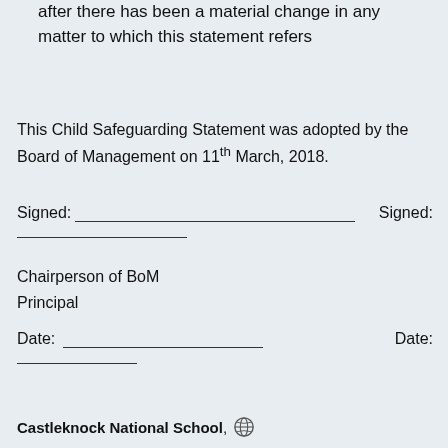after there has been a material change in any matter to which this statement refers
This Child Safeguarding Statement was adopted by the Board of Management on 11th March, 2018.
Signed: _____________ Signed:
____________
Chairperson of BoM
Principal
Date: _____________ Date:
____________
Castleknock National School,